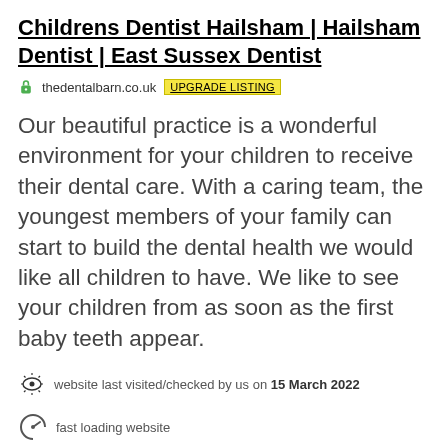Childrens Dentist Hailsham | Hailsham Dentist | East Sussex Dentist
thedentalbarn.co.uk  UPGRADE LISTING
Our beautiful practice is a wonderful environment for your children to receive their dental care. With a caring team, the youngest members of your family can start to build the dental health we would like all children to have. We like to see your children from as soon as the first baby teeth appear.
website last visited/checked by us on 15 March 2022
fast loading website